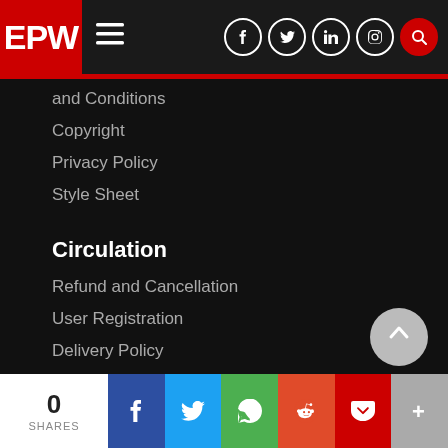EPW navigation bar with logo, hamburger menu, and social icons
and Conditions
Copyright
Privacy Policy
Style Sheet
Circulation
Refund and Cancellation
User Registration
Delivery Policy
Advertisement
0 SHARES share bar with Facebook, Twitter, WhatsApp, Reddit, Pocket, More